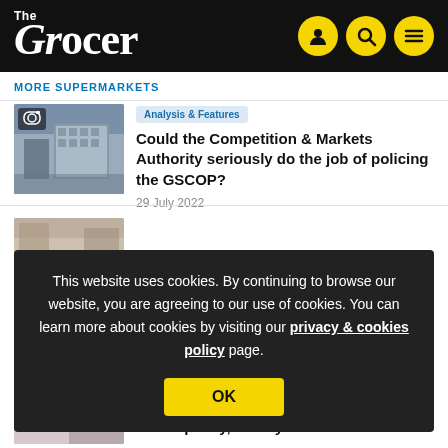The Grocer
MORE SUPERMARKETS
Analysis & Features
Could the Competition & Markets Authority seriously do the job of policing the GSCOP?
29 July 2022
This website uses cookies. By continuing to browse our website, you are agreeing to our use of cookies. You can learn more about cookies by visiting our privacy & cookies policy page.
OK
Trust in supermarket food down as consumers link cheaper choices with lower quality, survey finds